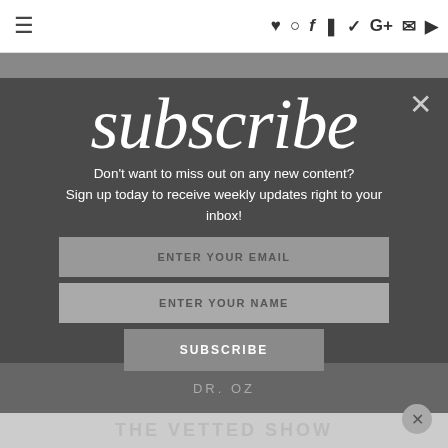≡  ♥  Instagram  f  Pinterest  Twitter  G+  Email  RSS
subscribe
Don't want to miss out on any new content? Sign up today to receive weekly updates right to your inbox!
ENTER YOUR EMAIL
ENTER YOUR NAME
SUBSCRIBE
DR. OZ
THE VETTED SHOW